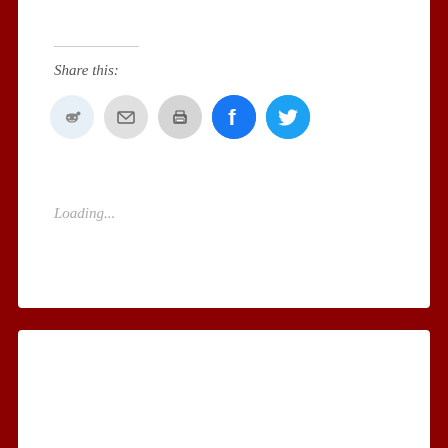Share this:
[Figure (illustration): Social sharing icons row: Reddit (light blue circle), Email (grey circle), Print (grey circle), Facebook (blue circle), Twitter (cyan circle)]
Loading...
CELEBRITY COUPLES, CELEBRITY NEWS, CHRIS BROWN, MATT KEMP, PHOTOS, PICTURES, RIHANNA, SNL